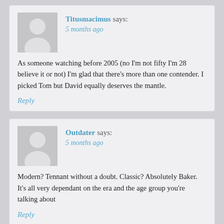Titusmacimus says: 5 months ago — As someone watching before 2005 (no I'm not fifty I'm 28 believe it or not) I'm glad that there's more than one contender. I picked Tom but David equally deserves the mantle. Reply
Outdater says: 5 months ago — Modern? Tennant without a doubt. Classic? Absolutely Baker. It's all very dependant on the era and the age group you're talking about Reply